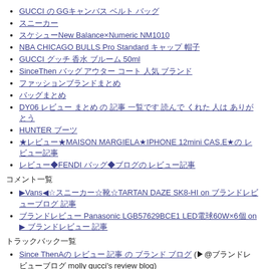GUCCI の GGキャンバス ベルト バッグ
スニーカー
スケシューNew Balance×Numeric NM1010
NBA CHICAGO BULLS Pro Standard キャップ 帽子
GUCCI グッチ 香水 ブルーム 50ml
SinceThen バッグ アウター コート 人気 ブランド
ファッションブランドまとめ
バッグまとめ
DY06 レビュー まとめ の 記事 一覧です 読んで くれた 人は ありがとう
HUNTER ブーツ
★レビュー★MAISON MARGIELA★IPHONE 12mini CAS.E★の レビュー記事
レビュー◆FENDI バッグ◆ブログの レビュー記事
コメント一覧
▶Vans◀☆スニーカー☆靴☆TARTAN DAZE SK8-HI on ブランドレビューブログ
ブランドレビュー Panasonic LGB57629BCE1 LED電球60W×6個 on ▶ ブランドレビュー 記事
トラックバック一覧
Since ThenAの レビュー 記事 の ブランド ブログ (▶@ブランドレビューブログ molly gucci's review blog)